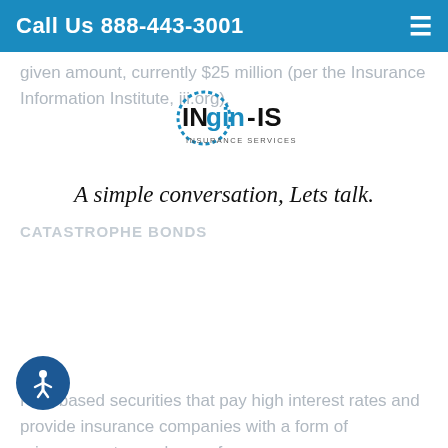Call Us 888-443-3001
given amount, currently $25 million (per the Insurance Information Institute, iii.org).
[Figure (logo): Ingin-IS Insurance Services logo with circular dotted emblem]
CATASTROPHE BONDS
A simple conversation, Lets talk.
Risk-based securities that pay high interest rates and provide insurance companies with a form of reinsurance to pay losses from a catastrophe such as those caused by a major hurricane. They allow insurance risk to be sold to institutional investors in the form of bonds, thus spreading the risk.
CATASTROPHE DEDUCTIBLE
A percentage or dollar amount that a homeowner must pay before the insurance policy kicks in when a major natural disaster occurs. These large deductibles limit an insurer's potential losses in such cases, allowing it to insure more property. A property